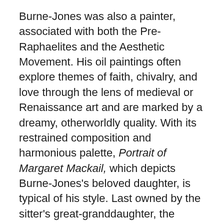Burne-Jones was also a painter, associated with both the Pre-Raphaelites and the Aesthetic Movement. His oil paintings often explore themes of faith, chivalry, and love through the lens of medieval or Renaissance art and are marked by a dreamy, otherworldly quality. With its restrained composition and harmonious palette, Portrait of Margaret Mackail, which depicts Burne-Jones's beloved daughter, is typical of his style. Last owned by the sitter's great-granddaughter, the painting has never been exhibited or published. It will go on view in the Huntington Art Gallery alongside other works from the British Design Reform period.
Though she was well connected among London's Pre-Raphaelite and Arts and Crafts artists, and regularly exhibited her work at the Royal Academy, Alice Mary Chambers was a Victorian-era artist who only recently is